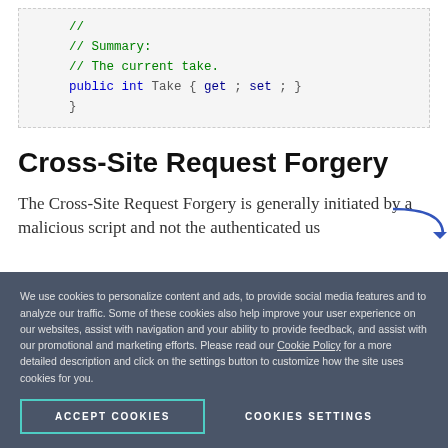[Figure (screenshot): Code snippet showing C# code with comments: // (blank), // Summary:, // The current take., public int Take { get; set; }, followed by closing brace. Syntax highlighted with green comments, blue/purple keywords.]
Cross-Site Request Forgery
The Cross-Site Request Forgery is generally initiated by a malicious script and not the authenticated us…
We use cookies to personalize content and ads, to provide social media features and to analyze our traffic. Some of these cookies also help improve your user experience on our websites, assist with navigation and your ability to provide feedback, and assist with our promotional and marketing efforts. Please read our Cookie Policy for a more detailed description and click on the settings button to customize how the site uses cookies for you.
ACCEPT COOKIES
COOKIES SETTINGS